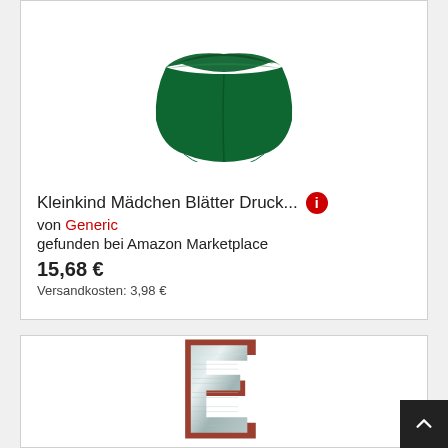[Figure (photo): Dark green high-waist bikini bottom underwear on white background]
Kleinkind Mädchen Blätter Druck...
von Generic
gefunden bei Amazon Marketplace
15,68 €
Versandkosten: 3,98 €
[Figure (photo): Decorative metallic letter E with rusty copper-colored border/outline, 3D style]